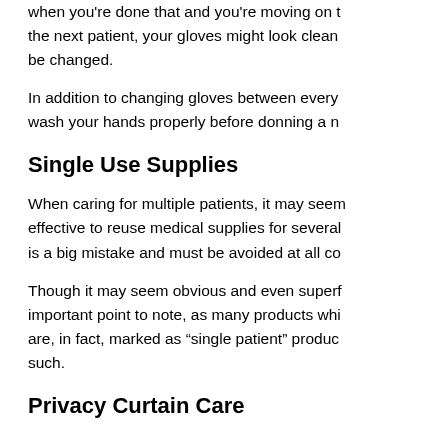when you're done that and you're moving on to the next patient, your gloves might look clean be changed.
In addition to changing gloves between every wash your hands properly before donning a n
Single Use Supplies
When caring for multiple patients, it may seem effective to reuse medical supplies for several is a big mistake and must be avoided at all co
Though it may seem obvious and even superf important point to note, as many products whi are, in fact, marked as “single patient” produc such.
Privacy Curtain Care